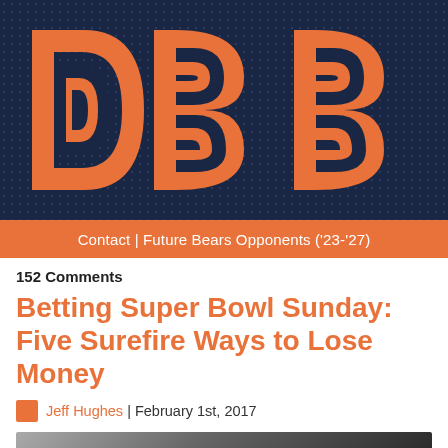[Figure (logo): DBB logo with large orange outlined letters D, B, B on a dark navy dotted background]
Contact | Future Bears Opponents ('23-'27)
152 Comments
Betting Super Bowl Sunday: Five Surefire Ways to Lose Money
Jeff Hughes | February 1st, 2017
[Figure (photo): Partial photo of a person, darkened, at bottom of page]